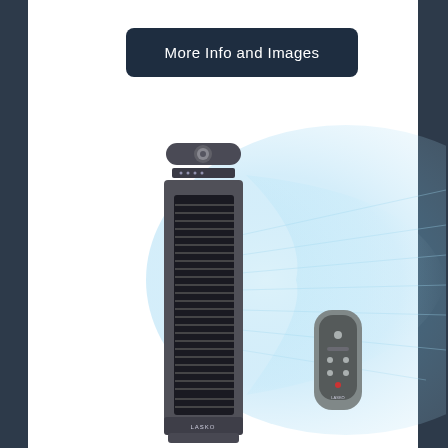More Info and Images
[Figure (photo): A tall Lasko tower fan (dark gray/silver) with visible grille slats, shown alongside its remote control. A blue airflow graphic emanates from the fan to the right.]